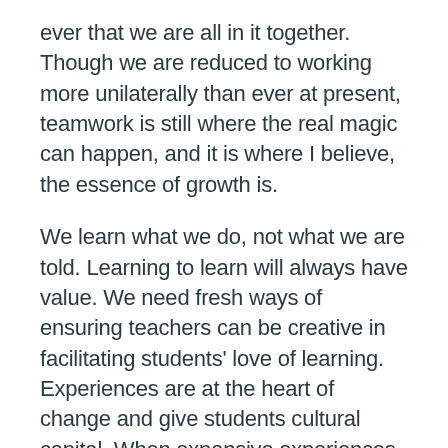ever that we are all in it together. Though we are reduced to working more unilaterally than ever at present, teamwork is still where the real magic can happen, and it is where I believe, the essence of growth is.
We learn what we do, not what we are told. Learning to learn will always have value. We need fresh ways of ensuring teachers can be creative in facilitating students' love of learning. Experiences are at the heart of change and give students cultural capital. When expansive experiences are combined with high expectations, students will generally rise to the challenge and achieve things we could not anticipate. As Godin says, young people need to learn how to lead and solve interesting problems together whilst being allowed to make small mistakes often, in order to really